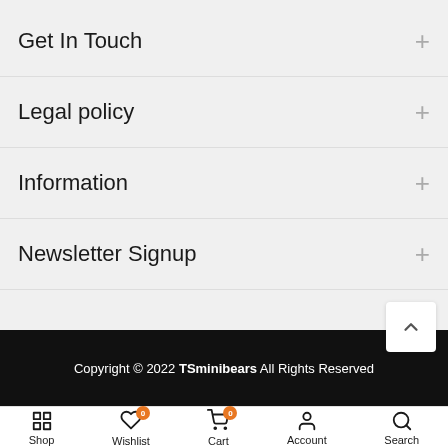Get In Touch
Legal policy
Information
Newsletter Signup
Copyright © 2022 TSminibears All Rights Reserved
Shop  Wishlist  Cart  Account  Search